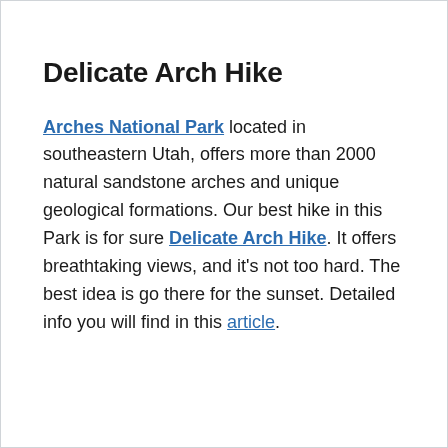Delicate Arch Hike
Arches National Park located in southeastern Utah, offers more than 2000 natural sandstone arches and unique geological formations. Our best hike in this Park is for sure Delicate Arch Hike. It offers breathtaking views, and it's not too hard. The best idea is go there for the sunset. Detailed info you will find in this article.